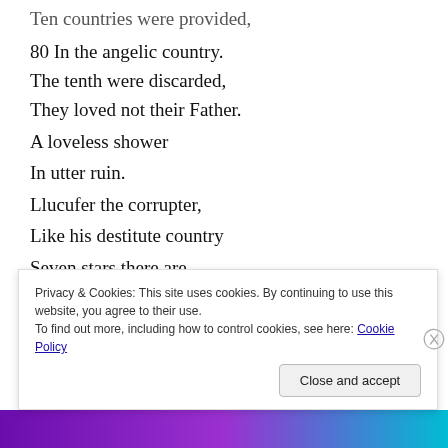Ten countries were provided,
80 In the angelic country.
The tenth were discarded,
They loved not their Father.
A loveless shower
In utter ruin.
Llucufer the corrupter,
Like his destitute country
Seven stars there are,
Of the seven gifts of the Lord.
The student of the stars
Privacy & Cookies: This site uses cookies. By continuing to use this website, you agree to their use.
To find out more, including how to control cookies, see here: Cookie Policy
Close and accept